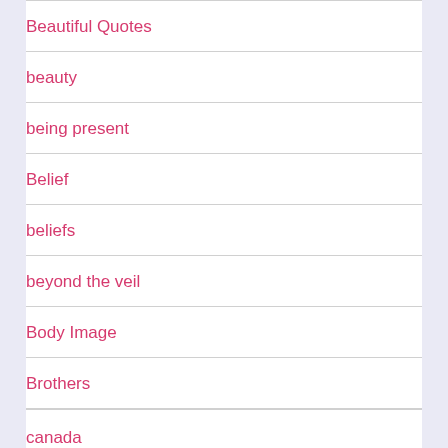Beautiful Quotes
beauty
being present
Belief
beliefs
beyond the veil
Body Image
Brothers
canada